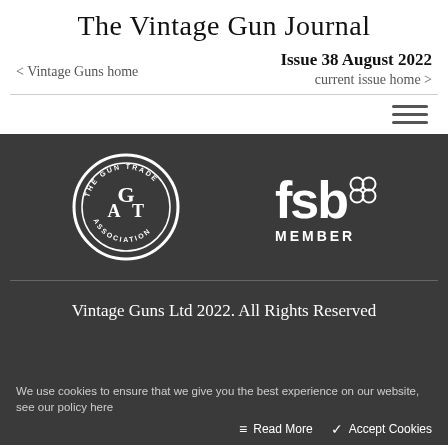The Vintage Gun Journal
Issue 38 August 2022
< Vintage Guns home
current issue home >
[Figure (logo): The Gun Trade Association circular logo with initials GTA in the center]
[Figure (logo): FSB Member logo with stylized fsb text and infinity circles, MEMBER below]
Vintage Guns Ltd 2022. All Rights Reserved
We use cookies to ensure that we give you the best experience on our website, see our policy here
Read More
Accept Cookies